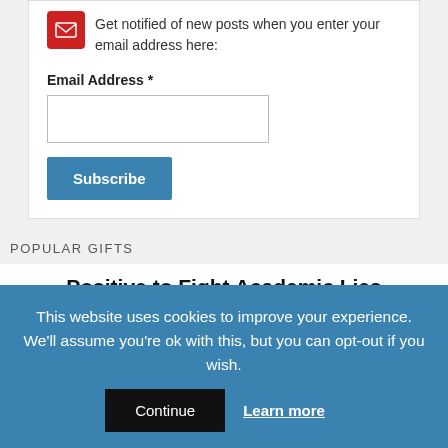Get notified of new posts when you enter your email address here:
Email Address *
Subscribe
POPULAR GIFTS
Positive to Fight Academic Lies
[Figure (photo): Two side-by-side images: left shows a person outdoors among green trees, right shows a book cover by Cary Nelson titled ISRAEL on a blue background]
This website uses cookies to improve your experience. We'll assume you're ok with this, but you can opt-out if you wish.
Continue  Learn more